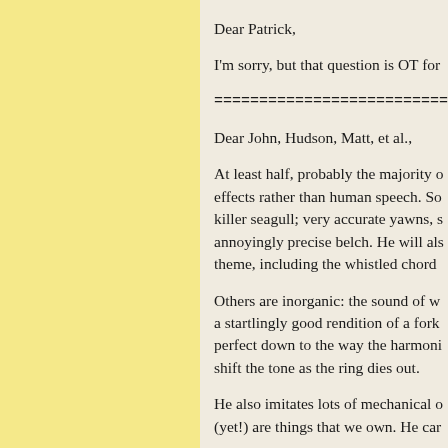Dear Patrick,
I'm sorry, but that question is OT for
============================
Dear John, Hudson, Matt, et al.,
At least half, probably the majority of effects rather than human speech. So killer seagull; very accurate yawns, s annoyingly precise belch. He will als theme, including the whistled chord
Others are inorganic: the sound of w a startlingly good rendition of a fork perfect down to the way the harmoni shift the tone as the ring dies out.
He also imitates lots of mechanical o (yet!) are things that we own. He car